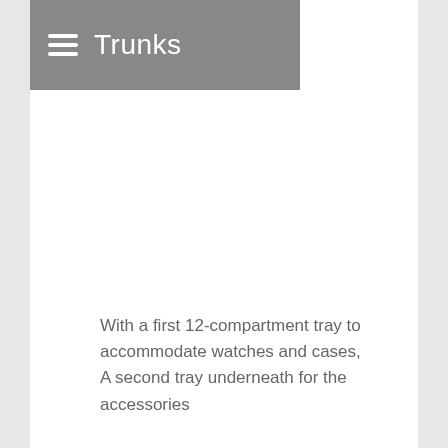Trunks
With a first 12-compartment tray to accommodate watches and cases,
A second tray underneath for the accessories